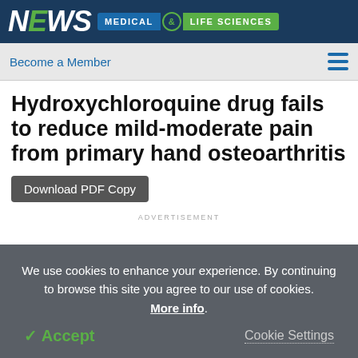NEWS MEDICAL & LIFE SCIENCES
Become a Member
Hydroxychloroquine drug fails to reduce mild-moderate pain from primary hand osteoarthritis
Download PDF Copy
ADVERTISEMENT
We use cookies to enhance your experience. By continuing to browse this site you agree to our use of cookies. More info.
Accept
Cookie Settings